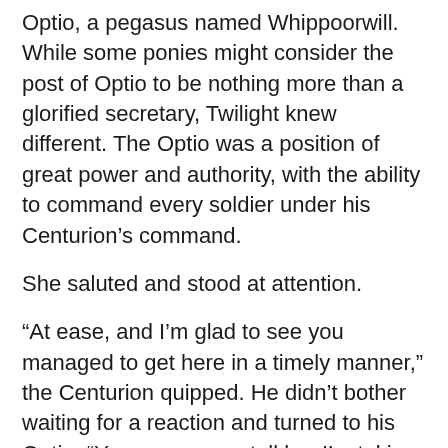Optio, a pegasus named Whippoorwill. While some ponies might consider the post of Optio to be nothing more than a glorified secretary, Twilight knew different. The Optio was a position of great power and authority, with the ability to command every soldier under his Centurion's command.
She saluted and stood at attention.
“At ease, and I’m glad to see you managed to get here in a timely manner,” the Centurion quipped. He didn’t bother waiting for a reaction and turned to his Optio. “You go on now, tell her I’m taking care of it.”
Optio Whippoorwill saluted and turned to Twilight. He adjusted a small pair of spectacles with the tip of his wing as he eyed her critically. He hummed in thought